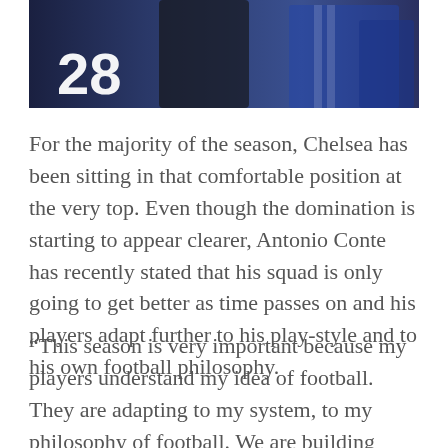[Figure (photo): A photo of Chelsea football players in blue jerseys, with the number 28 visible on one jersey. A dark-coated figure is also present.]
For the majority of the season, Chelsea has been sitting in that comfortable position at the very top. Even though the domination is starting to appear clearer, Antonio Conte has recently stated that his squad is only going to get better as time passes on and his players adapt further to his play-style and to his own football philosophy.
“This season is very important because my players understand my idea of football. They are adapting to my system, to my philosophy of football. We are building something important. I think my players are fully in my